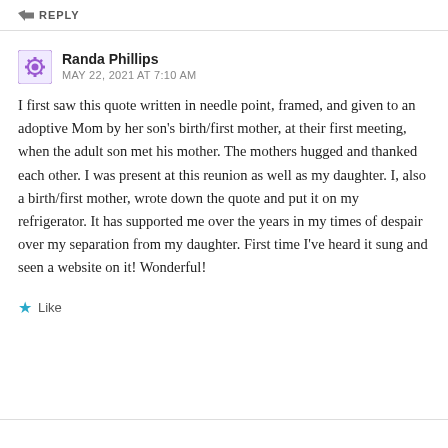REPLY
Randa Phillips
MAY 22, 2021 AT 7:10 AM
I first saw this quote written in needle point, framed, and given to an adoptive Mom by her son's birth/first mother, at their first meeting, when the adult son met his mother. The mothers hugged and thanked each other. I was present at this reunion as well as my daughter. I, also a birth/first mother, wrote down the quote and put it on my refrigerator. It has supported me over the years in my times of despair over my separation from my daughter. First time I've heard it sung and seen a website on it! Wonderful!
Like